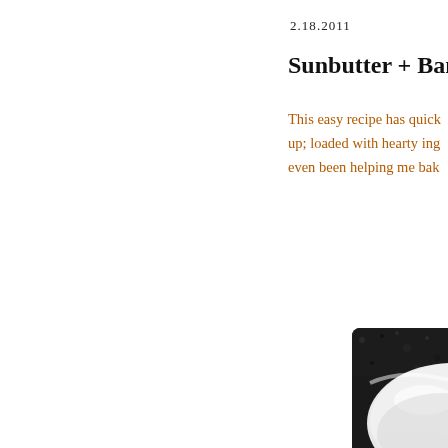2.18.2011
Sunbutter + Banana +
This easy recipe has quick up; loaded with hearty ing even been helping me bak
[Figure (photo): Close-up photo of a white ceramic bowl on a dark granite countertop, partially visible from the right side of the image]